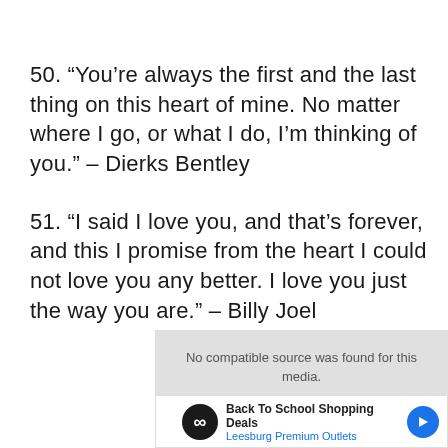50. “You’re always the first and the last thing on this heart of mine. No matter where I go, or what I do, I’m thinking of you.” – Dierks Bentley
51. “I said I love you, and that’s forever, and this I promise from the heart I could not love you any better. I love you just the way you are.” – Billy Joel